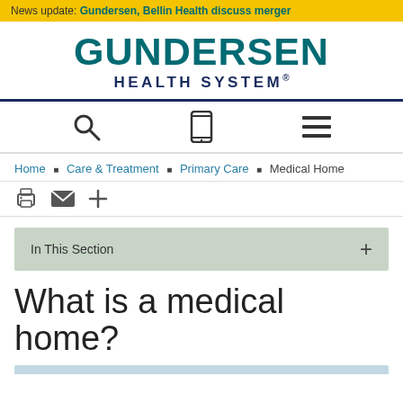News update: Gundersen, Bellin Health discuss merger
[Figure (logo): Gundersen Health System logo with teal GUNDERSEN text and dark blue HEALTH SYSTEM text]
[Figure (infographic): Navigation icon bar with search magnifying glass, mobile phone, and hamburger menu icons]
Home ■ Care & Treatment ■ Primary Care ■ Medical Home
[Figure (infographic): Action icons: print, email, and plus/expand icons]
In This Section +
What is a medical home?